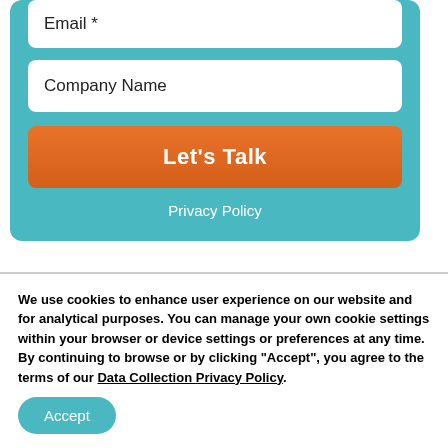Email *
Company Name
Let's Talk
Privacy Policy
[Figure (illustration): Accessibility icon - blue circle with white figure/person symbol]
Subscribe to our Blog
We use cookies to enhance user experience on our website and for analytical purposes. You can manage your own cookie settings within your browser or device settings or preferences at any time. By continuing to browse or by clicking "Accept", you agree to the terms of our Data Collection Privacy Policy.
Accept